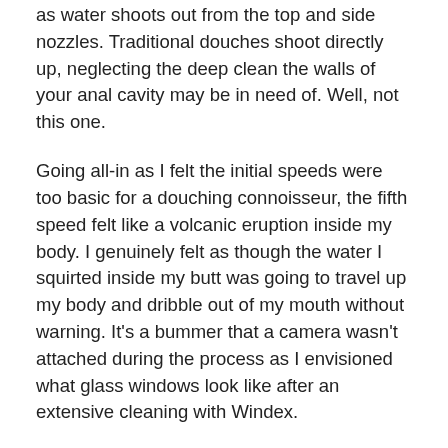as water shoots out from the top and side nozzles. Traditional douches shoot directly up, neglecting the deep clean the walls of your anal cavity may be in need of. Well, not this one.
Going all-in as I felt the initial speeds were too basic for a douching connoisseur, the fifth speed felt like a volcanic eruption inside my body. I genuinely felt as though the water I squirted inside my butt was going to travel up my body and dribble out of my mouth without warning. It's a bummer that a camera wasn't attached during the process as I envisioned what glass windows look like after an extensive cleaning with Windex.
The electric auto-spray douche bulb isn't exactly discreet, either. Sure, you can't beat a product with a rechargeable battery, but be warned: Turning this up full blast will alert someone in the next room to commence with the clean-up, and